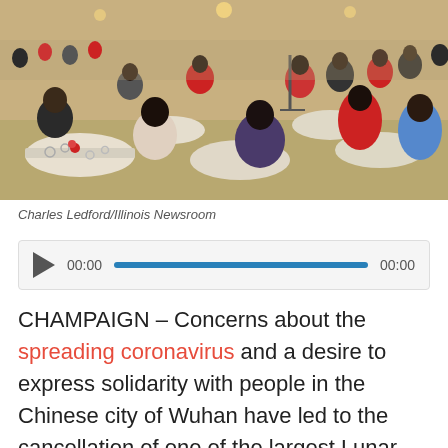[Figure (photo): Crowded banquet hall with people seated at round tables, many wearing red clothing, during what appears to be a Lunar New Year celebration. Photo taken from an elevated angle showing the large hall filled with attendees.]
Charles Ledford/Illinois Newsroom
[Figure (other): Audio player widget with play button, timestamp 00:00, progress bar, and end time 00:00]
CHAMPAIGN – Concerns about the spreading coronavirus and a desire to express solidarity with people in the Chinese city of Wuhan have led to the cancellation of one of the largest Lunar New Year celebrations in the midwest.